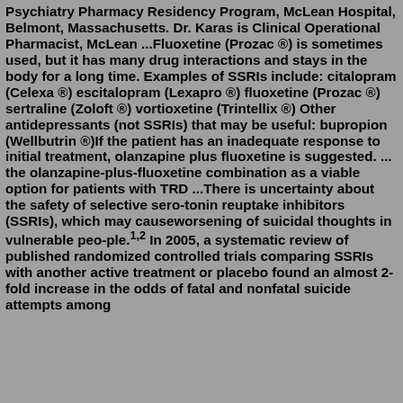Psychiatry Pharmacy Residency Program, McLean Hospital, Belmont, Massachusetts. Dr. Karas is Clinical Operational Pharmacist, McLean ...Fluoxetine (Prozac ®) is sometimes used, but it has many drug interactions and stays in the body for a long time. Examples of SSRIs include: citalopram (Celexa ®) escitalopram (Lexapro ®) fluoxetine (Prozac ®) sertraline (Zoloft ®) vortioxetine (Trintellix ®) Other antidepressants (not SSRIs) that may be useful: bupropion (Wellbutrin ®)If the patient has an inadequate response to initial treatment, olanzapine plus fluoxetine is suggested. ... the olanzapine-plus-fluoxetine combination as a viable option for patients with TRD ...There is uncertainty about the safety of selective sero-tonin reuptake inhibitors (SSRIs), which may causeworsening of suicidal thoughts in vulnerable peo-ple.1,2 In 2005, a systematic review of published randomized controlled trials comparing SSRIs with another active treatment or placebo found an almost 2-fold increase in the odds of fatal and nonfatal suicide attempts among